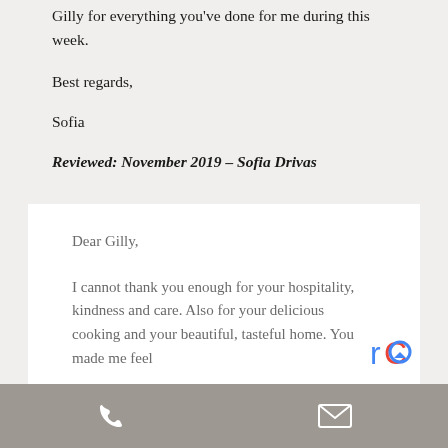Gilly for everything you've done for me during this week.
Best regards,
Sofia
Reviewed: November 2019 – Sofia Drivas
Dear Gilly,
I cannot thank you enough for your hospitality, kindness and care. Also for your delicious cooking and your beautiful, tasteful home. You made me feel like…
phone  email